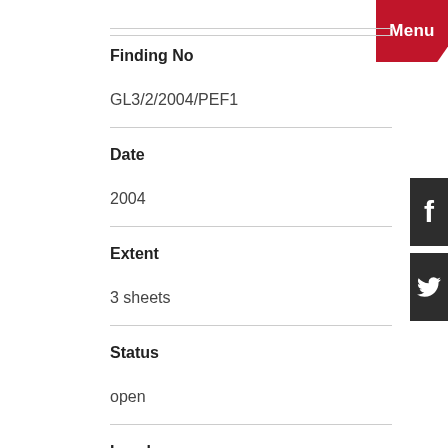Finding No
GL3/2/2004/PEF1
Date
2004
Extent
3 sheets
Status
open
Level
item
Enquire